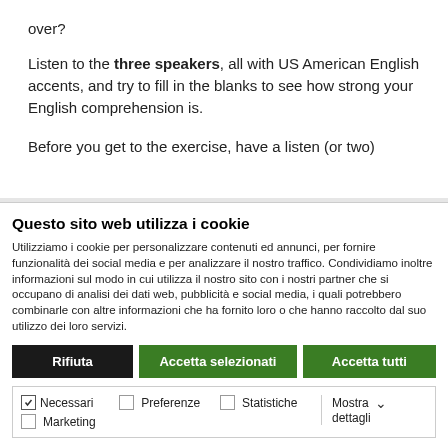over?
Listen to the three speakers, all with US American English accents, and try to fill in the blanks to see how strong your English comprehension is.
Before you get to the exercise, have a listen (or two)
Questo sito web utilizza i cookie
Utilizziamo i cookie per personalizzare contenuti ed annunci, per fornire funzionalità dei social media e per analizzare il nostro traffico. Condividiamo inoltre informazioni sul modo in cui utilizza il nostro sito con i nostri partner che si occupano di analisi dei dati web, pubblicità e social media, i quali potrebbero combinarle con altre informazioni che ha fornito loro o che hanno raccolto dal suo utilizzo dei loro servizi.
Rifiuta | Accetta selezionati | Accetta tutti
Necessari  Preferenze  Statistiche  Marketing  Mostra dettagli